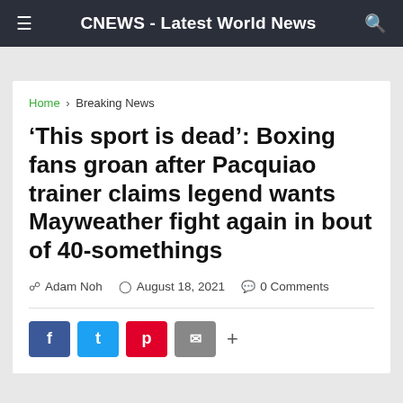CNEWS - Latest World News
Home > Breaking News
'This sport is dead': Boxing fans groan after Pacquiao trainer claims legend wants Mayweather fight again in bout of 40-somethings
Adam Noh  August 18, 2021  0 Comments
[Figure (other): Social sharing buttons: Facebook, Twitter, Pinterest, Email, and a + more button]